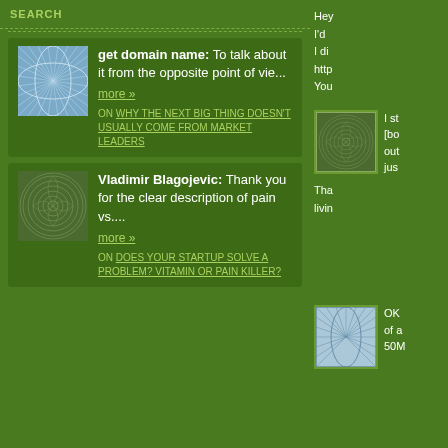SEARCH
get domain name: To talk about it from the opposite point of vie...
more »
ON WHY THE NEXT BIG THING DOESN'T USUALLY COME FROM MARKET LEADERS
Vladimir Blagojevic: Thank you for the clear description of pain vs....
more »
ON DOES YOUR STARTUP SOLVE A PROBLEM? VITAMIN OR PAIN KILLER?
Hey I'd I di http You
I st [bo out jus Tha livin
OK of a 50M